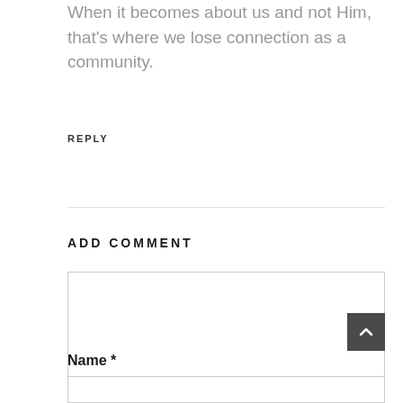When it becomes about us and not Him, that's where we lose connection as a community.
REPLY
ADD COMMENT
Name *